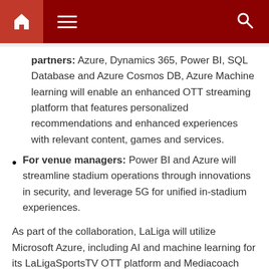Navigation bar with home, menu, and search icons
partners: Azure, Dynamics 365, Power BI, SQL Database and Azure Cosmos DB, Azure Machine learning will enable an enhanced OTT streaming platform that features personalized recommendations and enhanced experiences with relevant content, games and services.
For venue managers: Power BI and Azure will streamline stadium operations through innovations in security, and leverage 5G for unified in-stadium experiences.
As part of the collaboration, LaLiga will utilize Microsoft Azure, including AI and machine learning for its LaLigaSportsTV OTT platform and Mediacoach (match stats and visualization) platform, to reinvent interactive audiovisual experiences and formats.